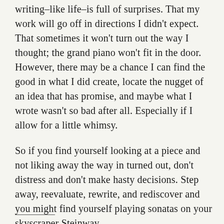writing–like life–is full of surprises. That my work will go off in directions I didn't expect. That sometimes it won't turn out the way I thought; the grand piano won't fit in the door. However, there may be a chance I can find the good in what I did create, locate the nugget of an idea that has promise, and maybe what I wrote wasn't so bad after all. Especially if I allow for a little whimsy.
So if you find yourself looking at a piece and not liking away the way in turned out, don't distress and don't make hasty decisions. Step away, reevaluate, rewrite, and rediscover and you might find yourself playing sonatas on your skyscraper Steinway.